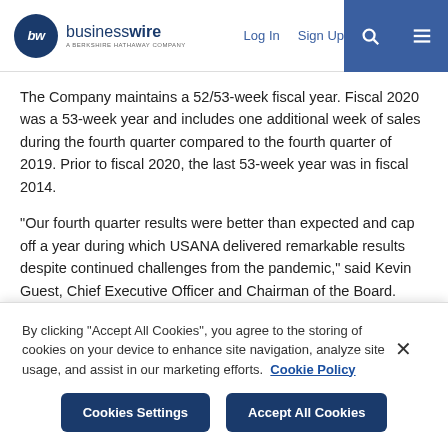businesswire — A BERKSHIRE HATHAWAY COMPANY | Log In | Sign Up
The Company maintains a 52/53-week fiscal year. Fiscal 2020 was a 53-week year and includes one additional week of sales during the fourth quarter compared to the fourth quarter of 2019. Prior to fiscal 2020, the last 53-week year was in fiscal 2014.
“Our fourth quarter results were better than expected and cap off a year during which USANA delivered remarkable results despite continued challenges from the pandemic,” said Kevin Guest, Chief Executive Officer and Chairman of the Board. “During the quarter, demand for our high-quality nutritional products from our loyal
By clicking “Accept All Cookies”, you agree to the storing of cookies on your device to enhance site navigation, analyze site usage, and assist in our marketing efforts.  Cookie Policy
Cookies Settings | Accept All Cookies